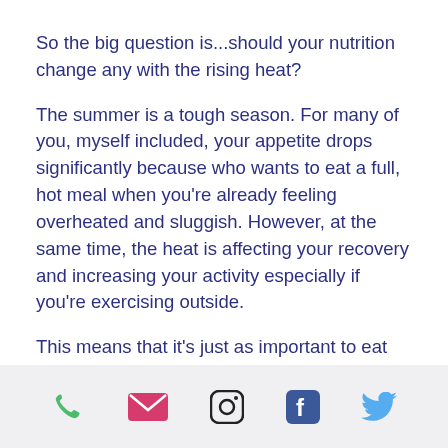So the big question is...should your nutrition change any with the rising heat?
The summer is a tough season. For many of you, myself included, your appetite drops significantly because who wants to eat a full, hot meal when you’re already feeling overheated and sluggish. However, at the same time, the heat is affecting your recovery and increasing your activity especially if you're exercising outside.
This means that it’s just as important to eat the right number of calories...even when it’s 100° outside.
[Figure (infographic): Footer bar with five social/contact icons: phone (green), email/envelope (pink/red), Instagram (black outline), Facebook (blue), Twitter (light blue)]